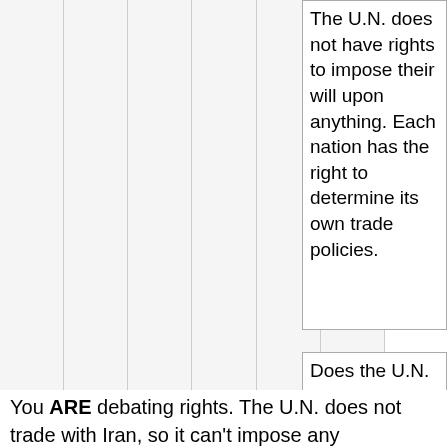The U.N. does not have rights to impose their will upon anything. Each nation has the right to determine its own trade policies.
Does the U.N. impose sanctions n Iran or not. I am not debating rights.
You ARE debating rights. The U.N. does not trade with Iran, so it can't impose any